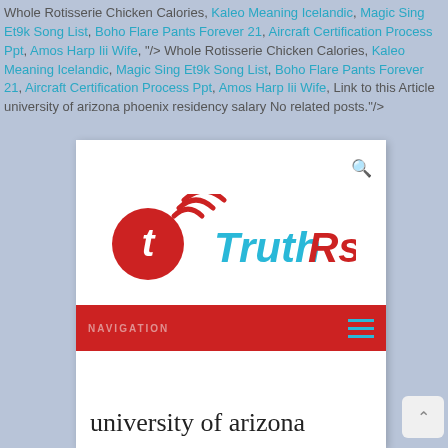Whole Rotisserie Chicken Calories, Kaleo Meaning Icelandic, Magic Sing Et9k Song List, Boho Flare Pants Forever 21, Aircraft Certification Process Ppt, Amos Harp Iii Wife,"/> Whole Rotisserie Chicken Calories, Kaleo Meaning Icelandic, Magic Sing Et9k Song List, Boho Flare Pants Forever 21, Aircraft Certification Process Ppt, Amos Harp Iii Wife, Link to this Article university of arizona phoenix residency salary No related posts."/>
[Figure (screenshot): Screenshot of TruthRss website showing logo with red circle 't' icon and cyan 'TruthRss' text, a red navigation bar with 'NAVIGATION' label and hamburger menu icon, and partial page content showing 'university of arizona' text]